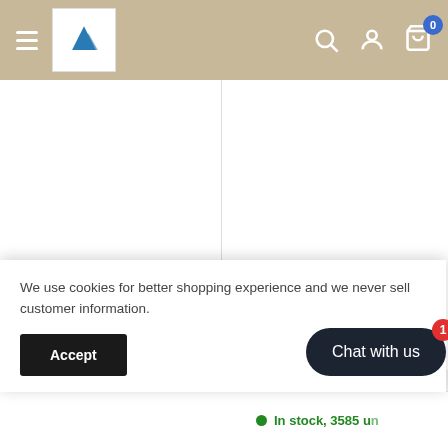[Figure (screenshot): E-commerce website header with hamburger menu, logo, search icon, user icon, and cart icon with badge showing 0]
[Figure (photo): Product image area for Women's Elegant Long Sleeve Party Mini Dress by AKJ (blank white space shown)]
AKJ
Women's Elegant Long Sleeve Party Mini Dress
[Figure (photo): Product image area for Women Sequined Sleeveless High Split Party Mini Dress by FESTIVALQUEEN (blank white space shown, partially visible)]
FESTIVALQUEEN
Women Sequined Sleeveless High Sp... Party Mini Dress
We use cookies for better shopping experience and we never sell customer information.
Accept
Chat with us
In stock, 3585 u...